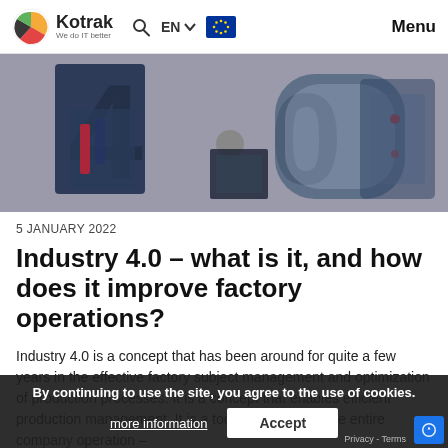Kotrak – We do IT better | EN | Menu
[Figure (photo): Industry 4.0 hero image showing industrial robots and factory machinery forming the text '4.0']
5 JANUARY 2022
Industry 4.0 – what is it, and how does it improve factory operations?
Industry 4.0 is a concept that has been around for quite a few years in the effective factory subject management and optimization of production processes. It is a concept that enables efficient production management. It is a tool that improves the entire company operation –